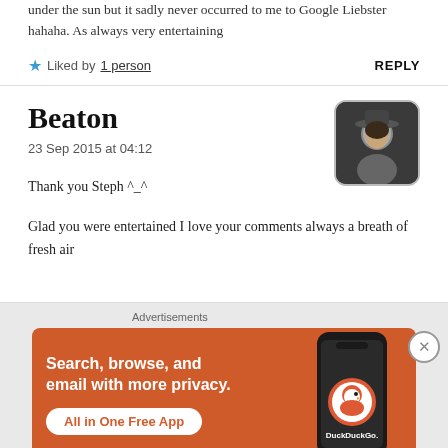under the sun but it sadly never occurred to me to Google Liebster hahaha. As always very entertaining
Liked by 1 person   REPLY
Beaton
23 Sep 2015 at 04:12
Thank you Steph ^_^
Glad you were entertained I love your comments always a breath of fresh air
[Figure (photo): Profile photo of commenter Beaton - person wearing a hat]
[Figure (infographic): DuckDuckGo advertisement banner: orange background with text 'Search, browse, and email with more privacy. All in One Free App' and a phone image with DuckDuckGo logo]